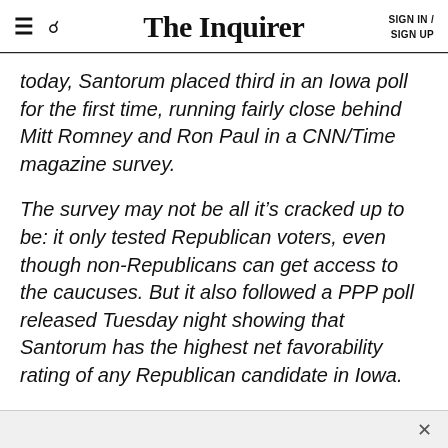The Inquirer   SIGN IN / SIGN UP
today, Santorum placed third in an Iowa poll for the first time, running fairly close behind Mitt Romney and Ron Paul in a CNN/Time magazine survey.
The survey may not be all it’s cracked up to be: it only tested Republican voters, even though non-Republicans can get access to the caucuses. But it also followed a PPP poll released Tuesday night showing that Santorum has the highest net favorability rating of any Republican candidate in Iowa.